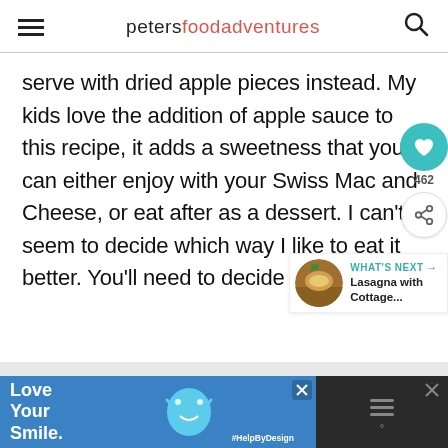petersfoodadventures
serve with dried apple pieces instead. My kids love the addition of apple sauce to this recipe, it adds a sweetness that you can either enjoy with your Swiss Mac and Cheese, or eat after as a dessert. I can't seem to decide which way I like to eat it better. You'll need to decide for yourself!
[Figure (screenshot): Blue advertisement bar at bottom: Love Your Smile with tooth illustration and #HelpByDesign hashtag, and a dark section with close button and bar icon]
[Figure (infographic): What's Next banner with circular food photo thumbnail for Lasagna with Cottage... article]
[Figure (infographic): Teal heart/like button showing 462 likes and a share button on the right side of the content area]